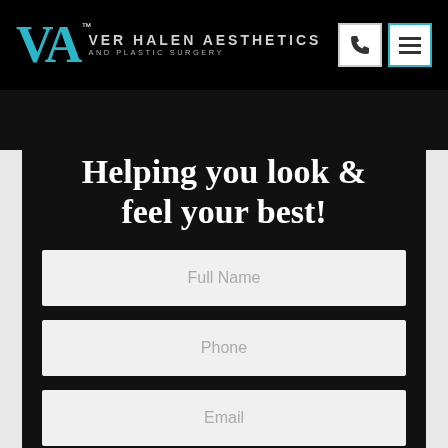VER HALEN AESTHETICS AND PLASTIC SURGERY
Helping you look & feel your best!
Full Name
Phone
Email
Procedure of Interest